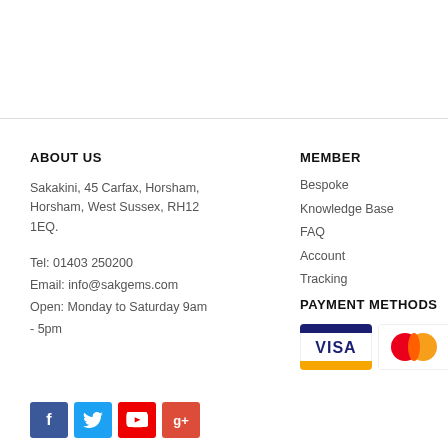ABOUT US
Sakakini, 45 Carfax, Horsham, Horsham, West Sussex, RH12 1EQ.
Tel: 01403 250200
Email: info@sakgems.com
Open: Monday to Saturday 9am - 5pm
MEMBER
Bespoke
Knowledge Base
FAQ
Account
Tracking
PAYMENT METHODS
[Figure (logo): Payment method logos: Visa, Mastercard, American Express]
[Figure (logo): Social media icons: Facebook, Twitter, YouTube, Google+]